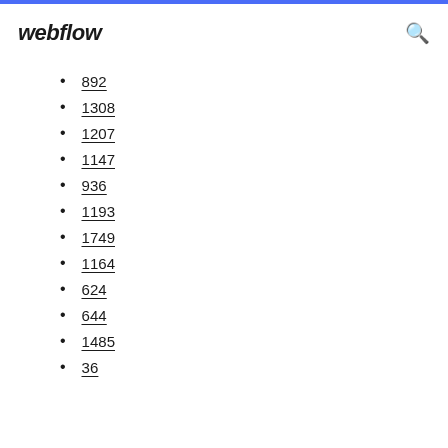webflow
892
1308
1207
1147
936
1193
1749
1164
624
644
1485
36